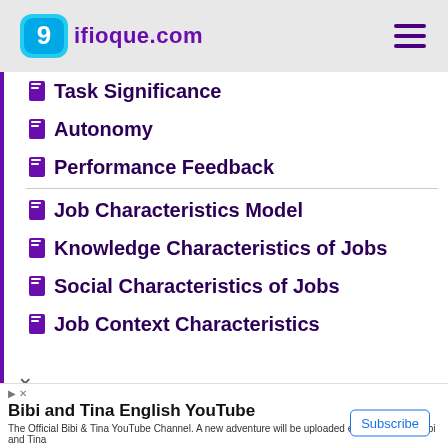ifioque.com
Task Significance
Autonomy
Performance Feedback
Job Characteristics Model
Knowledge Characteristics of Jobs
Social Characteristics of Jobs
Job Context Characteristics
Bibi and Tina English YouTube
The Official Bibi & Tina YouTube Channel. A new adventure will be uploaded every thursday! Bibi and Tina